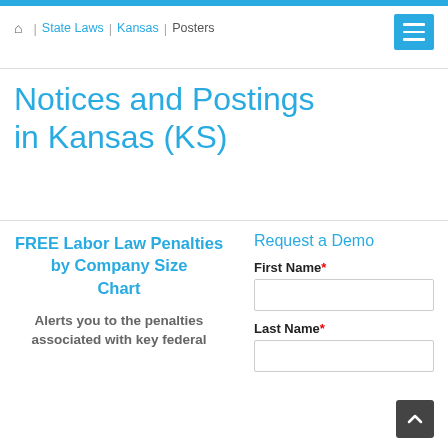Home | State Laws | Kansas | Posters
Notices and Postings in Kansas (KS)
FREE Labor Law Penalties by Company Size Chart
Alerts you to the penalties associated with key federal
Request a Demo
First Name*
Last Name*